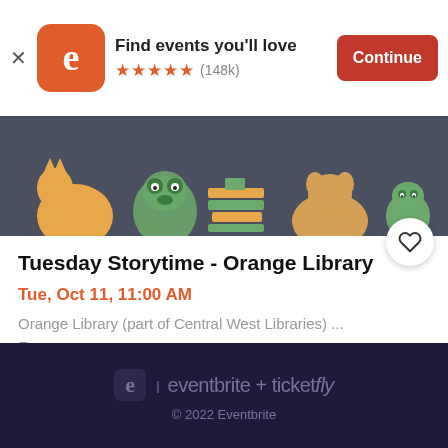[Figure (screenshot): Eventbrite app banner with logo, 'Find events you'll love' text, 5 star rating (148k), and Continue button]
[Figure (illustration): Decorative banner with cartoon animal illustrations (cat, panda, dog, bear) and stack of books on dark teal background]
Tuesday Storytime - Orange Library
Tue, Oct 11, 11:00 AM
Orange Library (part of Central West Libraries) ...
Free
eventbrite + ticketfly
© 2022 Eventbrite